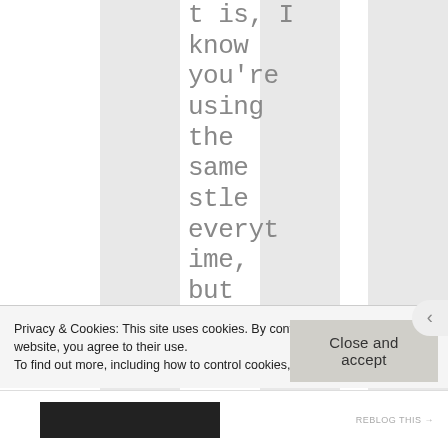t is, I know you're using the same stle everytime, but yours is a
Privacy & Cookies: This site uses cookies. By continuing to use this website, you agree to their use.
To find out more, including how to control cookies, see here: Cookie Policy
Close and accept